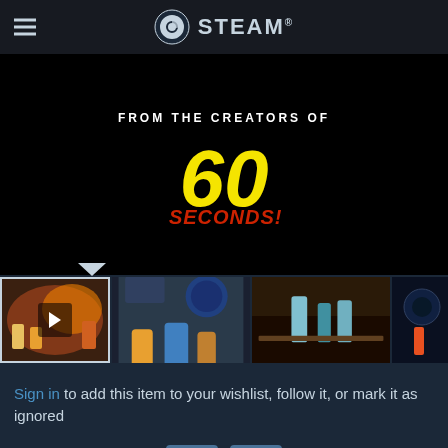STEAM
[Figure (screenshot): Game promotional image on black background showing 'FROM THE CREATORS OF' text and '60 SECONDS!' logo in yellow and red]
[Figure (screenshot): Thumbnail strip showing 4 game screenshots: video play button thumbnail, interior game scene, dark scene with characters, space station scene]
Sign in to add this item to your wishlist, follow it, or mark it as ignored
[Figure (infographic): Two teal/blue icon buttons: share/upload icon and flag icon]